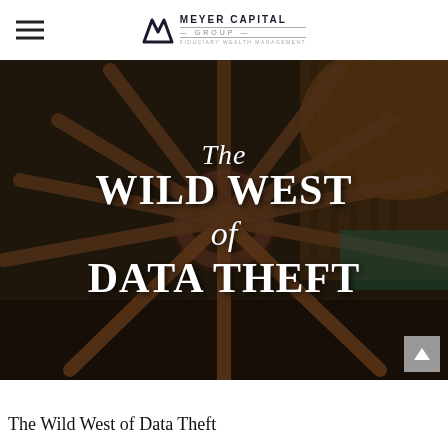Meyer Capital Group — Fiduciary Wealth Management
[Figure (photo): A wooden wagon wheel photographed close-up against a dark barn background. Overlaid text reads 'The Wild West of Data Theft' in white serif font with italic script for 'The' and 'of'.]
The Wild West of Data Theft